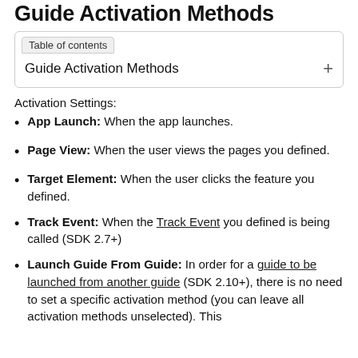Guide Activation Methods
Table of contents
Guide Activation Methods
Activation Settings:
App Launch: When the app launches.
Page View: When the user views the pages you defined.
Target Element: When the user clicks the feature you defined.
Track Event: When the Track Event you defined is being called (SDK 2.7+)
Launch Guide From Guide: In order for a guide to be launched from another guide (SDK 2.10+), there is no need to set a specific activation method (you can leave all activation methods unselected). This